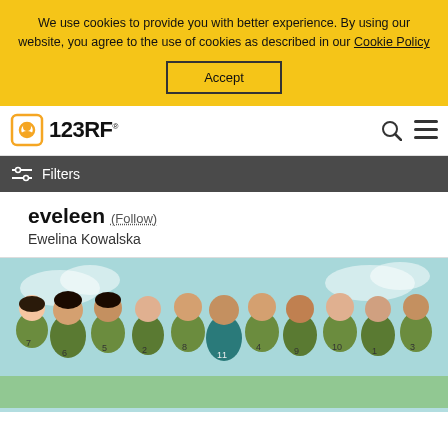We use cookies to provide you with better experience. By using our website, you agree to the use of cookies as described in our Cookie Policy
Accept
[Figure (logo): 123RF logo with camera icon and brand name]
Filters
eveleen (Follow)
Ewelina Kowalska
[Figure (illustration): Illustration of a soccer/football team with 11 players wearing green numbered jerseys, standing together in a group photo style against a light blue sky background]